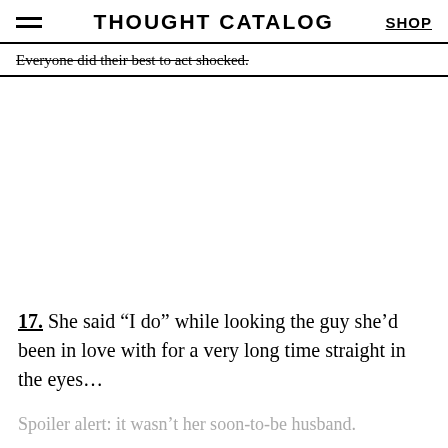THOUGHT CATALOG | SHOP
Everyone did their best to act shocked.
17. She said “I do” while looking the guy she’d been in love with for a very long time straight in the eyes…
Spoiler alert: it wasn’t her soon-to-be husband.